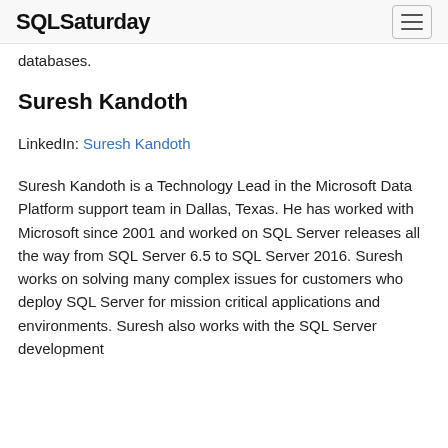SQLSaturday
databases.
Suresh Kandoth
LinkedIn: Suresh Kandoth
Suresh Kandoth is a Technology Lead in the Microsoft Data Platform support team in Dallas, Texas. He has worked with Microsoft since 2001 and worked on SQL Server releases all the way from SQL Server 6.5 to SQL Server 2016. Suresh works on solving many complex issues for customers who deploy SQL Server for mission critical applications and environments. Suresh also works with the SQL Server development